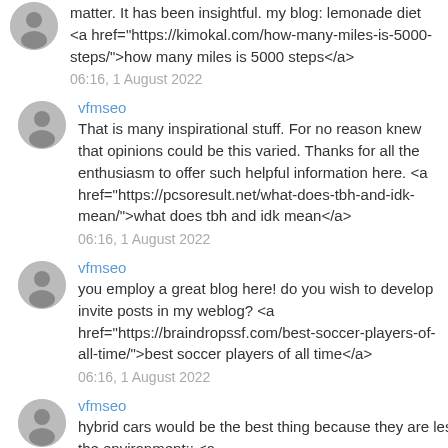matter. It has been insightful. my blog: lemonade diet <a href="https://kimokal.com/how-many-miles-is-5000-steps/">how many miles is 5000 steps</a>
06:16, 1 August 2022
vfmseo
That is many inspirational stuff. For no reason knew that opinions could be this varied. Thanks for all the enthusiasm to offer such helpful information here. <a href="https://pcsoresult.net/what-does-tbh-and-idk-mean/">what does tbh and idk mean</a>
06:16, 1 August 2022
vfmseo
you employ a great blog here! do you wish to develop invite posts in my weblog? <a href="https://braindropssf.com/best-soccer-players-of-all-time/">best soccer players of all time</a>
06:16, 1 August 2022
vfmseo
hybrid cars would be the best thing because they are less polluting to the environment;; <a href="http://cialisoverthecounternorx.com/">cialisoverthecounternorx</a>
06:16, 1 August 2022